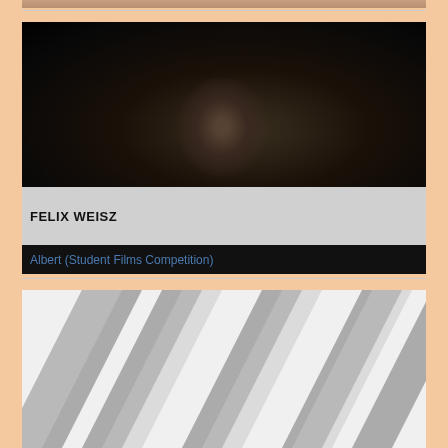[Figure (photo): Partially visible image strip at top of page, cropped]
[Figure (photo): Dark portrait photo of a person with beard and dark hair against black background]
FELIX WEISZ
Albert (Student Films Competition)
[Figure (illustration): Abstract diagonal stripe pattern in grey and white, resembling a film clapperboard or graphic design element]